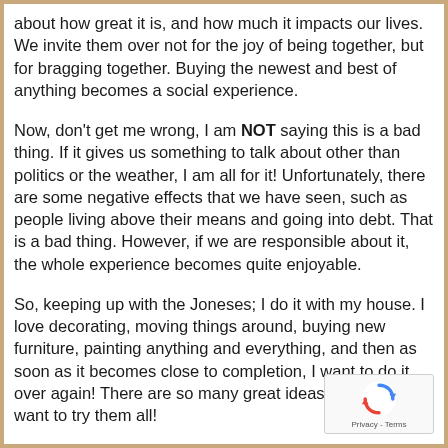about how great it is, and how much it impacts our lives. We invite them over not for the joy of being together, but for bragging together. Buying the newest and best of anything becomes a social experience.
Now, don't get me wrong, I am NOT saying this is a bad thing. If it gives us something to talk about other than politics or the weather, I am all for it! Unfortunately, there are some negative effects that we have seen, such as people living above their means and going into debt. That is a bad thing. However, if we are responsible about it, the whole experience becomes quite enjoyable.
So, keeping up with the Joneses; I do it with my house. I love decorating, moving things around, buying new furniture, painting anything and everything, and then as soon as it becomes close to completion, I want to do it over again! There are so many great ideas out there I want to try them all!
[Figure (logo): Google reCAPTCHA badge with spinning arrows logo and Privacy - Terms text]